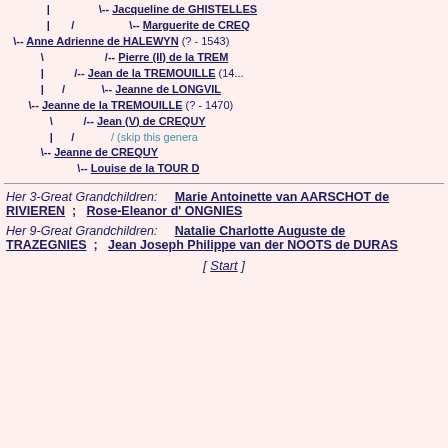[Figure (other): Genealogical tree showing ancestors including Jacqueline de GHISTELLES, Marguerite de CREQ, Anne Adrienne de HALEWYN (?-1543), Pierre (II) de la TREM, Jean de la TREMOUILLE (14...), Jeanne de LONGVIL, Jeanne de la TREMOUILLE (?-1470), Jean (V) de CREQUY, skip this generation, Jeanne de CREQUY, Louise de la TOUR D]
Her 3-Great Grandchildren: Marie Antoinette van AARSCHOT de RIVIEREN ; Rose-Eleanor d' ONGNIES
Her 9-Great Grandchildren: Natalie Charlotte Auguste de TRAZEGNIES ; Jean Joseph Philippe van der NOOTS de DURAS
[ Start ]